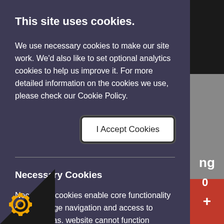This site uses cookies.
We use necessary cookies to make our site work. We'd also like to set optional analytics cookies to help us improve it. For more detailed information on the cookies we use, please check our Cookie Policy.
I Accept Cookies
Necessary Cookies
Necessary cookies enable core functionality such as page navigation and access to secure areas. website cannot function properly without cookies and can only be disabled by